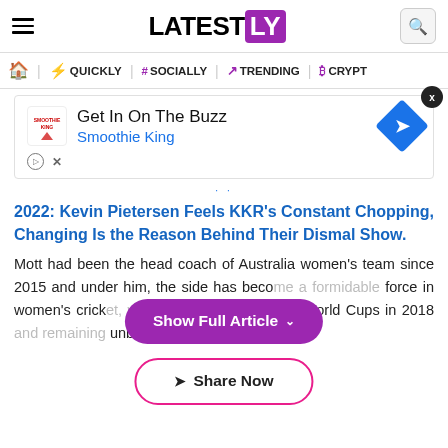LATESTLY
QUICKLY | # SOCIALLY | TRENDING | CRYPTO
[Figure (other): Advertisement banner for Smoothie King – Get In On The Buzz]
2022: Kevin Pietersen Feels KKR's Constant Chopping, Changing Is the Reason Behind Their Dismal Show.
Mott had been the head coach of Australia women's team since 2015 and under him, the side has become a formidable force in women's cricket, winning the Women's T20 World Cups in 2018 and remaining unbeaten